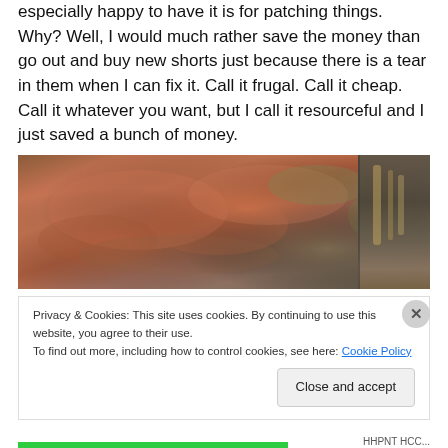especially happy to have it is for patching things. Why? Well, I would much rather save the money than go out and buy new shorts just because there is a tear in them when I can fix it. Call it frugal. Call it cheap. Call it whatever you want, but I call it resourceful and I just saved a bunch of money.
[Figure (photo): Close-up photo of a worn, patched fabric surface with earthy red, orange, and green tones, with metallic hardware visible on the right side.]
Privacy & Cookies: This site uses cookies. By continuing to use this website, you agree to their use.
To find out more, including how to control cookies, see here: Cookie Policy